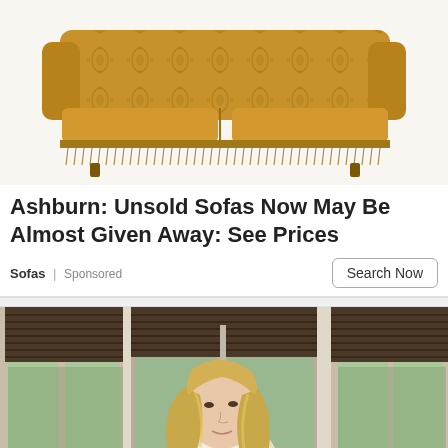[Figure (photo): Photo of an ornate golden/amber damask patterned sofa with fringe trim on a white background]
Ashburn: Unsold Sofas Now May Be Almost Given Away: See Prices
Sofas | Sponsored   Search Now
[Figure (photo): Photo of a blonde woman standing indoors near large windows with brown roman shades/blinds, appears to be from a TV show or film]